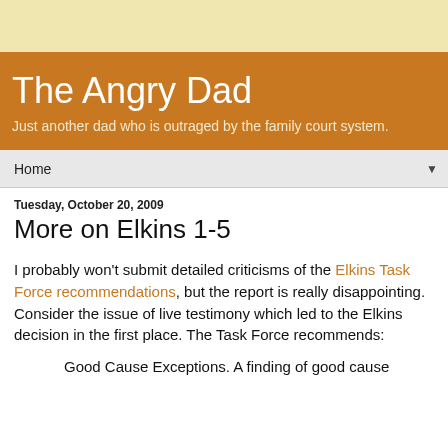The Angry Dad
Just another dad who is outraged by the family court system.
Home
Tuesday, October 20, 2009
More on Elkins 1-5
I probably won't submit detailed criticisms of the Elkins Task Force recommendations, but the report is really disappointing. Consider the issue of live testimony which led to the Elkins decision in the first place. The Task Force recommends:
Good Cause Exceptions. A finding of good cause